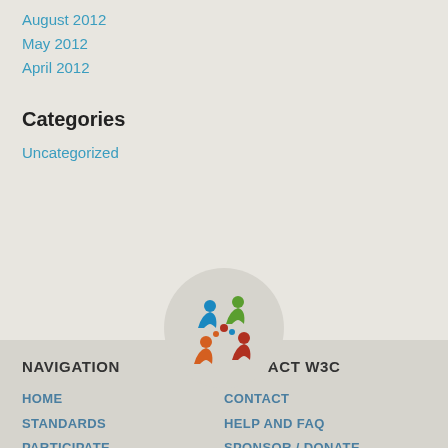August 2012
May 2012
April 2012
Categories
Uncategorized
[Figure (logo): W3C colorful people/community logo inside a light circular background]
NAVIGATION
CONTACT W3C
HOME
CONTACT
STANDARDS
HELP AND FAQ
PARTICIPATE
SPONSOR / DONATE
MEMBERSHIP
SITE MAP